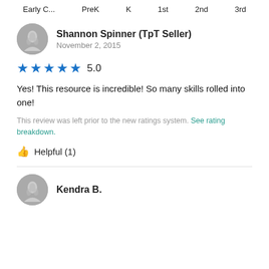Early C...   PreK   K   1st   2nd   3rd
Shannon Spinner (TpT Seller)
November 2, 2015
[Figure (other): 5-star rating: 5 blue stars with rating 5.0]
Yes! This resource is incredible! So many skills rolled into one!
This review was left prior to the new ratings system. See rating breakdown.
Helpful (1)
Kendra B.